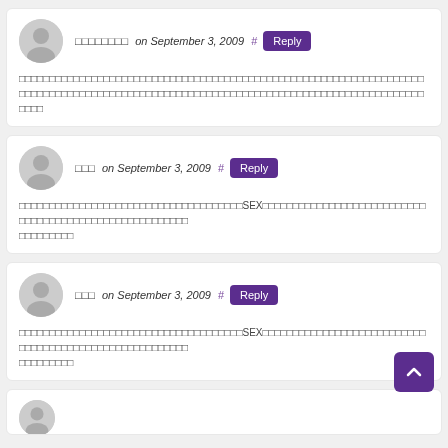□□□□□□□□ on September 3, 2009 # Reply
□□□□□□□□□□□□□□□□□□□□□□□□□□□□□□□□□□□□□□□□□□□□□□□□□□□□□□□□□□□□□□□□□□□□□□□□□□□□□□□□□□□□□
□□□ on September 3, 2009 # Reply
□□□□□□□□□□□□□□□□□□□□□□□□□□□□□□□□□□□□□SEX□□□□□□□□□□□□□□□□□□□□□□□□□□□□□□□□□□□□□□□□□□□□□□□□□□□□□□□
□□□ on September 3, 2009 # Reply
□□□□□□□□□□□□□□□□□□□□□□□□□□□□□□□□□□□□□SEX□□□□□□□□□□□□□□□□□□□□□□□□□□□□□□□□□□□□□□□□□□□□□□□□□□□□□□□